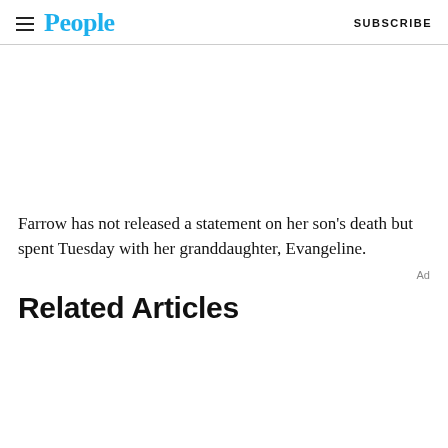People | SUBSCRIBE
Farrow has not released a statement on her son’s death but spent Tuesday with her granddaughter, Evangeline.
Ad
Related Articles